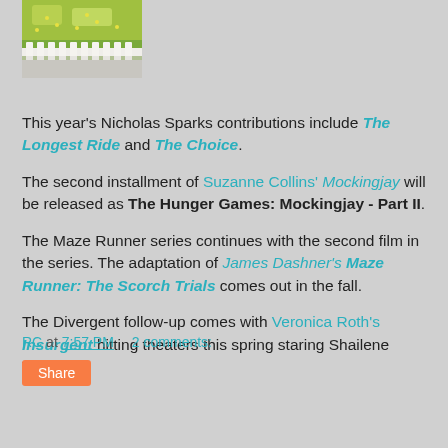[Figure (photo): Outdoor photo showing green grass/field with a white picket fence in the foreground]
This year's Nicholas Sparks contributions include The Longest Ride and The Choice.
The second installment of Suzanne Collins' Mockingjay will be released as The Hunger Games: Mockingjay - Part II.
The Maze Runner series continues with the second film in the series. The adaptation of James Dashner's Maze Runner: The Scorch Trials comes out in the fall.
The Divergent follow-up comes with Veronica Roth's Insurgent hitting theaters this spring staring Shailene Woodley.
RC at 7:57 PM    2 comments:
Share